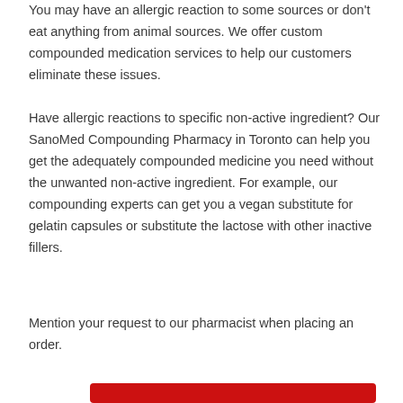You may have an allergic reaction to some sources or don't eat anything from animal sources. We offer custom compounded medication services to help our customers eliminate these issues.
Have allergic reactions to specific non-active ingredient? Our SanoMed Compounding Pharmacy in Toronto can help you get the adequately compounded medicine you need without the unwanted non-active ingredient. For example, our compounding experts can get you a vegan substitute for gelatin capsules or substitute the lactose with other inactive fillers.
Mention your request to our pharmacist when placing an order.